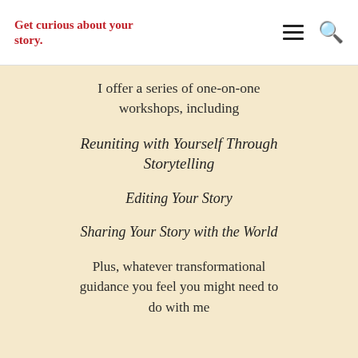Get curious about your story.
I offer a series of one-on-one workshops, including
Reuniting with Yourself Through Storytelling
Editing Your Story
Sharing Your Story with the World
Plus, whatever transformational guidance you feel you might need to do with me